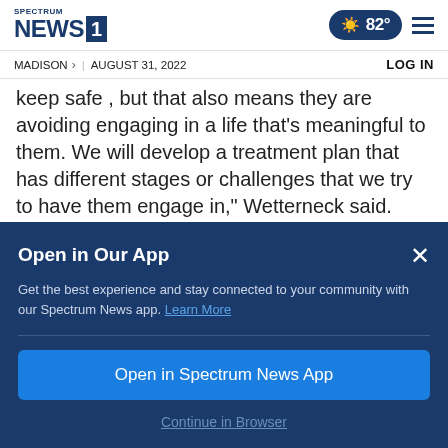Spectrum NEWS 1 | 82° | MADISON > | AUGUST 31, 2022 | LOG IN
keep safe , but that also means they are avoiding engaging in a life that's meaningful to them. We will develop a treatment plan that has different stages or challenges that we try to have them engage in," Wetterneck said.
Open in Our App
Get the best experience and stay connected to your community with our Spectrum News app. Learn More
Open in Spectrum News App
Continue in Browser